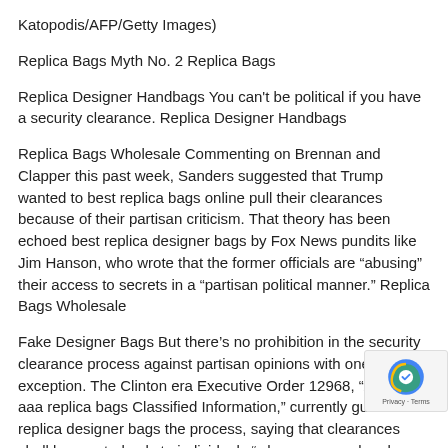Katopodis/AFP/Getty Images)
Replica Bags Myth No. 2 Replica Bags
Replica Designer Handbags You can't be political if you have a security clearance. Replica Designer Handbags
Replica Bags Wholesale Commenting on Brennan and Clapper this past week, Sanders suggested that Trump wanted to best replica bags online pull their clearances because of their partisan criticism. That theory has been echoed best replica designer bags by Fox News pundits like Jim Hanson, who wrote that the former officials are “abusing” their access to secrets in a “partisan political manner.” Replica Bags Wholesale
Fake Designer Bags But there’s no prohibition in the security clearance process against partisan opinions with one narrow exception. The Clinton era Executive Order 12968, “Access to aaa replica bags Classified Information,” currently guides replica designer bags the process, saying that clearances shall be granted only to individuals “whose personal and professional history affirmatively indicates loyalty to the United States, strength of character, trustworthiness, honesty, good conduct, discretion, and reliability, discretion, and an ethical and…